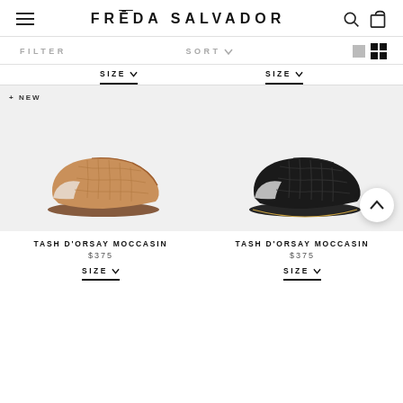FRĒDA SALVADOR
FILTER   SORT ∨
SIZE ∨   SIZE ∨
[Figure (photo): Tan woven leather D'Orsay moccasin loafer on white/light grey background with '+NEW' tag]
TASH D'ORSAY MOCCASIN
$375
SIZE
[Figure (photo): Black textured/croc D'Orsay moccasin loafer on white/light grey background]
TASH D'ORSAY MOCCASIN
$375
SIZE